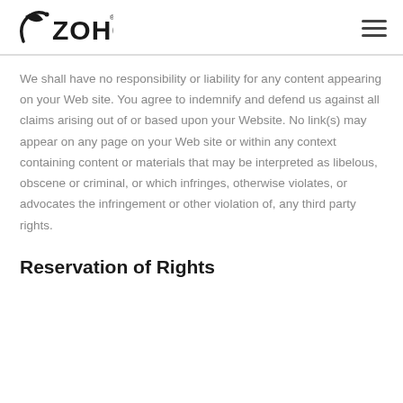Zoho
We shall have no responsibility or liability for any content appearing on your Web site. You agree to indemnify and defend us against all claims arising out of or based upon your Website. No link(s) may appear on any page on your Web site or within any context containing content or materials that may be interpreted as libelous, obscene or criminal, or which infringes, otherwise violates, or advocates the infringement or other violation of, any third party rights.
Reservation of Rights